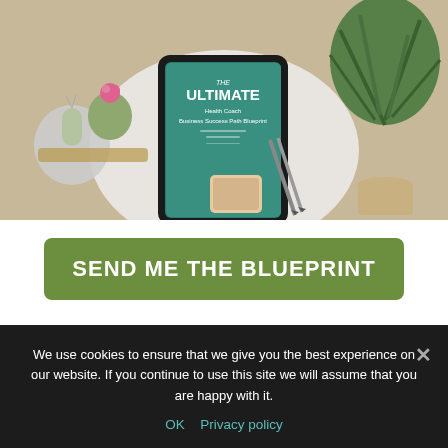[Figure (photo): Overhead/flat-lay photo of a desk with a tablet displaying 'THE ULTIMATE Health Coach Business Success Path Blueprint' ebook cover in teal/green, surrounded by cacti, a green plant, pencils, and a smartphone on a round white tray on a wooden surface.]
SEND ME THE BLUEPRINT
We use cookies to ensure that we give you the best experience on our website. If you continue to use this site we will assume that you are happy with it.
OK   Privacy policy